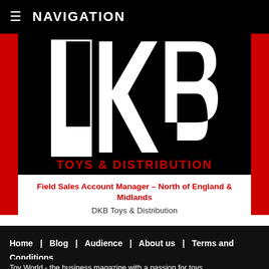≡ NAVIGATION
[Figure (logo): DKB Toys & Distribution logo — large white letters DKB on black background with 'TOYS & DISTRIBUTION' in red below]
Field Sales Account Manager – North of England & Midlands
DKB Toys & Distribution
Home  Blog  Audience  About us  Terms and Conditions  Privacy Policy
Toy World - the business magazine with a passion for toys. Published by Alakat Publishing Ltd.